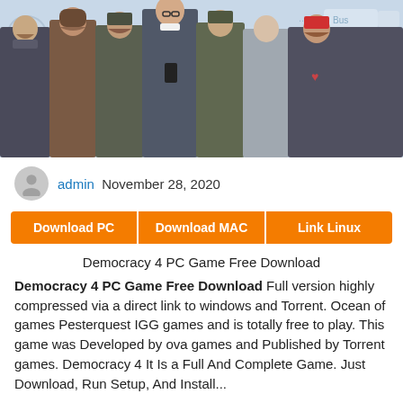[Figure (illustration): Game banner showing multiple illustrated characters (diverse people in different clothing styles) standing together against a light blue background with faint icons]
admin  November 28, 2020
Download PC   Download MAC   Link Linux
Democracy 4 PC Game Free Download
Democracy 4 PC Game Free Download Full version highly compressed via a direct link to windows and Torrent. Ocean of games Pesterquest IGG games and is totally free to play. This game was Developed by ova games and Published by Torrent games. Democracy 4 It Is a Full And Complete Game. Just Download, Run Setup, And Install...